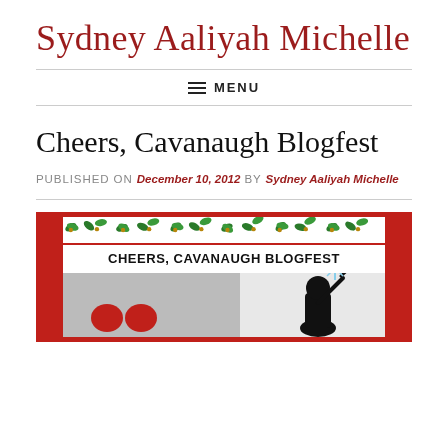Sydney Aaliyah Michelle
≡ MENU
Cheers, Cavanaugh Blogfest
PUBLISHED ON December 10, 2012 by Sydney Aaliyah Michelle
[Figure (illustration): Cheers, Cavanaugh Blogfest promotional image with red border, holly decorations, title text, and imagery of a ninja silhouette and red splatter circles]